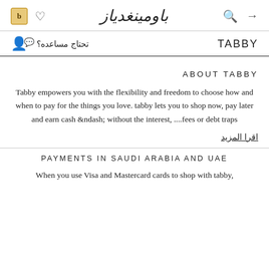b ♡ باومينغدياز 🔍 →
TABBY  تحتاج مساعده؟
ABOUT TABBY
Tabby empowers you with the flexibility and freedom to choose how and when to pay for the things you love. tabby lets you to shop now, pay later and earn cash &ndash; without the interest, fees or debt traps....
اقرا المزيد
PAYMENTS IN SAUDI ARABIA AND UAE
When you use Visa and Mastercard cards to shop with tabby,